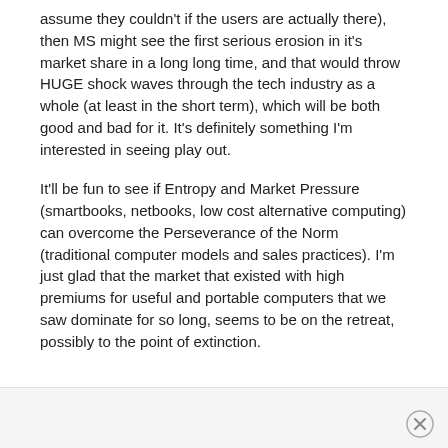assume they couldn't if the users are actually there), then MS might see the first serious erosion in it's market share in a long long time, and that would throw HUGE shock waves through the tech industry as a whole (at least in the short term), which will be both good and bad for it. It's definitely something I'm interested in seeing play out.
It'll be fun to see if Entropy and Market Pressure (smartbooks, netbooks, low cost alternative computing) can overcome the Perseverance of the Norm (traditional computer models and sales practices). I'm just glad that the market that existed with high premiums for useful and portable computers that we saw dominate for so long, seems to be on the retreat, possibly to the point of extinction.